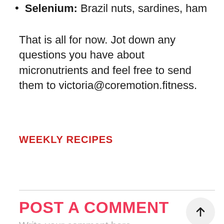Selenium: Brazil nuts, sardines, ham
That is all for now. Jot down any questions you have about micronutrients and feel free to send them to victoria@coremotion.fitness.
WEEKLY RECIPES
POST A COMMENT
Write your comment here...